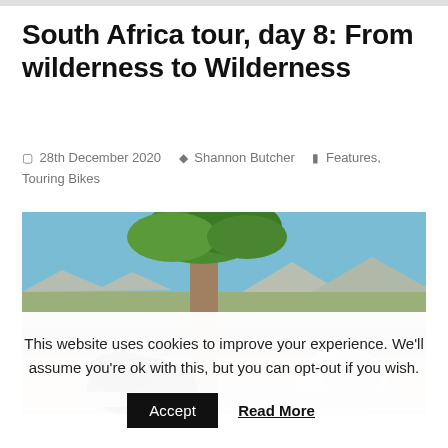South Africa tour, day 8: From wilderness to Wilderness
28th December 2020   Shannon Butcher   Features, Touring Bikes
[Figure (photo): Motorcycle gear and helmets resting against a large tree trunk beside a road, with dry landscape and mountains in the background under a clear blue sky.]
This website uses cookies to improve your experience. We'll assume you're ok with this, but you can opt-out if you wish.
Accept   Read More